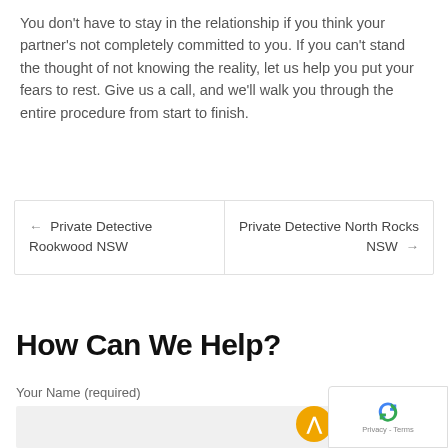You don't have to stay in the relationship if you think your partner's not completely committed to you. If you can't stand the thought of not knowing the reality, let us help you put your fears to rest. Give us a call, and we'll walk you through the entire procedure from start to finish.
← Private Detective Rookwood NSW | Private Detective North Rocks NSW →
How Can We Help?
Your Name (required)